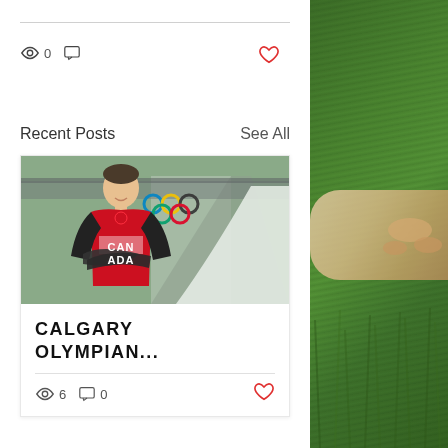[Figure (infographic): View count icon (eye) showing 0, comment icon showing 0, and heart/like icon in red on top right]
Recent Posts
See All
[Figure (photo): Canadian Olympic athlete in red Canada vest with arms crossed, standing in front of Olympic rings and a luge/ski jump structure in Calgary]
CALGARY OLYMPIAN...
[Figure (infographic): View count icon showing 6, comment icon showing 0, and heart/like icon in red]
[Figure (photo): Right side panel showing hands on grass background]